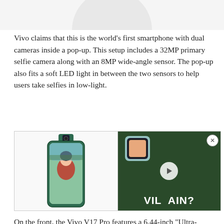[Figure (photo): Partial view of a phone or device at the top of the page, showing a curved grey arc shape on a light background]
Vivo claims that this is the world’s first smartphone with dual cameras inside a pop-up. This setup includes a 32MP primary selfie camera along with an 8MP wide-angle sensor. The pop-up also fits a soft LED light in between the two sensors to help users take selfies in low-light.
[Figure (photo): Two side-by-side images: left shows a smartphone with a pop-up selfie camera displaying a woman in a red dress; right shows a video thumbnail with a smartphone and the text VILLAIN? overlaid in white bold font with a play button.]
On the front, the Vivo V17 Pro features a 6.44-inch “Ultra-FullView” FullHD+ Super AMOLED display. Thanks to the